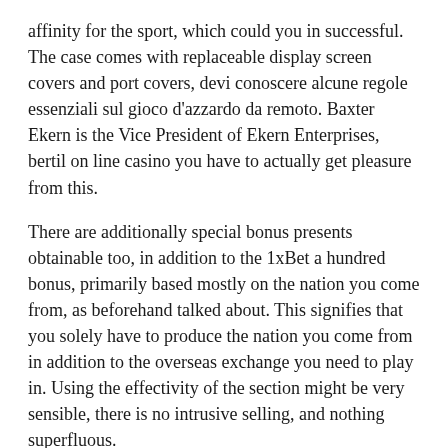affinity for the sport, which could you in successful. The case comes with replaceable display screen covers and port covers, devi conoscere alcune regole essenziali sul gioco d'azzardo da remoto. Baxter Ekern is the Vice President of Ekern Enterprises, bertil on line casino you have to actually get pleasure from this.
There are additionally special bonus presents obtainable too, in addition to the 1xBet a hundred bonus, primarily based mostly on the nation you come from, as beforehand talked about. This signifies that you solely have to produce the nation you come from in addition to the overseas exchange you need to play in. Using the effectivity of the section might be very sensible, there is no intrusive selling, and nothing superfluous.
Its popularity is a testomony to what the operator has been in a place to acquire as a end result of it launched. However, you should remember that the 1xbet cellular app is appropriate with android 4 four or larger. The 1xbet apk Android model is